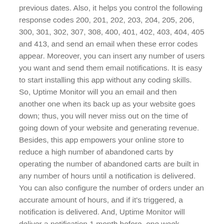previous dates. Also, it helps you control the following response codes 200, 201, 202, 203, 204, 205, 206, 300, 301, 302, 307, 308, 400, 401, 402, 403, 404, 405 and 413, and send an email when these error codes appear. Moreover, you can insert any number of users you want and send them email notifications. It is easy to start installing this app without any coding skills. So, Uptime Monitor will you an email and then another one when its back up as your website goes down; thus, you will never miss out on the time of going down of your website and generating revenue. Besides, this app empowers your online store to reduce a high number of abandoned carts by operating the number of abandoned carts are built in any number of hours until a notification is delivered. You can also configure the number of orders under an accurate amount of hours, and if it's triggered, a notification is delivered. And, Uptime Monitor will deliver a notification 1 month before, one week before, 1 day before, and when your domain or SSL has expired.
Overall, you and your online business team will never